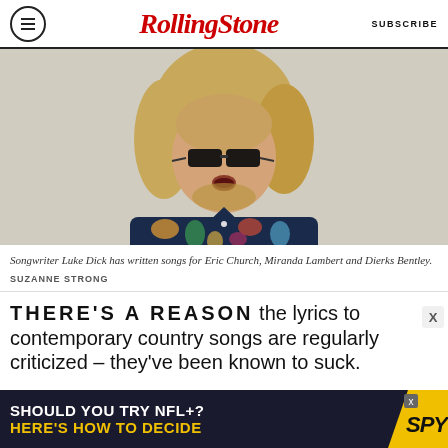Rolling Stone  SUBSCRIBE
[Figure (photo): Man with shoulder-length blond hair wearing dark sunglasses and a colorful floral shirt, mouth open, standing against a light gray-beige wall.]
Songwriter Luke Dick has written songs for Eric Church, Miranda Lambert and Dierks Bentley.  SUZANNE STRONG
THERE'S A REASON the lyrics to contemporary country songs are regularly criticized – they've been known to suck.
[Figure (infographic): Advertisement banner: 'SHOULD YOU TRY NFL+? HERE'S HOW TO DECIDE' with SPY logo on yellow background.]